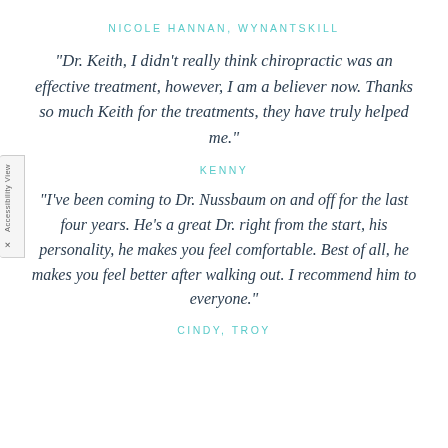NICOLE HANNAN, WYNANTSKILL
"Dr. Keith, I didn't really think chiropractic was an effective treatment, however, I am a believer now. Thanks so much Keith for the treatments, they have truly helped me."
KENNY
"I've been coming to Dr. Nussbaum on and off for the last four years. He's a great Dr. right from the start, his personality, he makes you feel comfortable. Best of all, he makes you feel better after walking out. I recommend him to everyone."
CINDY, TROY